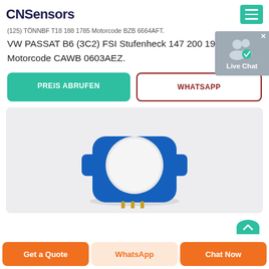CNSensors
(125) TÖNNBF T18 188 1785 Motorcode BZB 6664AFT.
VW PASSAT B6 (3C2) FSI Stufenheck 147 200 1984 Motorcode CAWB 0603AEZ.
[Figure (screenshot): Live Chat button overlay with icon and X close button]
PREIS ABRUFEN
WHATSAPP
[Figure (photo): Blue square sensor component with a round white top and gold pins at the bottom, photographed on a light gray background]
Get a Quote
WhatsApp
Chat Now